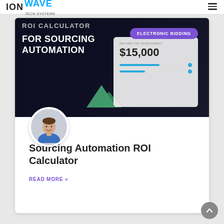ION WAVE TECH SYSTEMS
[Figure (screenshot): Hero banner for ROI Calculator for Sourcing Automation blog post. Dark background with white bold text reading 'ROI CALCULATOR FOR SOURCING AUTOMATION'. A purple badge labeled 'ELECTRONIC BIDDING' in the top right. A grey ROI widget card showing 'RETURN ON INVESTMENT $15,000' with two blue slider bars. Green mountain/chart icon visible in the lower center. A circular author avatar photo of a smiling man in a blue plaid shirt overlapping the bottom of the image.]
Sourcing Automation ROI Calculator
READ MORE »